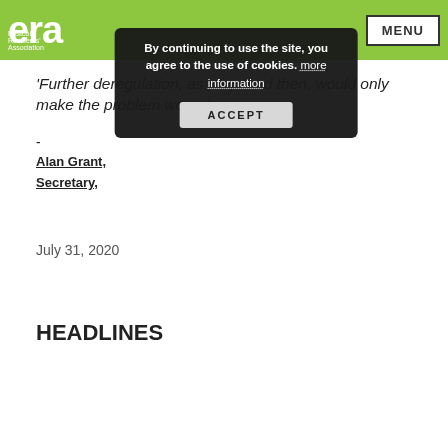era — Eastcole Residents' Association | MENU
[Figure (other): Cookie consent overlay with text: By continuing to use the site, you agree to the use of cookies. more information — with ACCEPT button]
'Further deregulation, as proposed then, would only make the problem worse'
-
Alan Grant,
Secretary,
July 31, 2020
HEADLINES